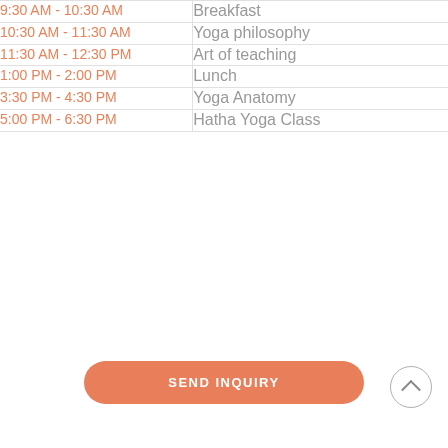| Time | Activity |
| --- | --- |
| 9:30 AM - 10:30 AM | Breakfast |
| 10:30 AM - 11:30 AM | Yoga philosophy |
| 11:30 AM - 12:30 PM | Art of teaching |
| 1:00 PM - 2:00 PM | Lunch |
| 3:30 PM - 4:30 PM | Yoga Anatomy |
| 5:00 PM - 6:30 PM | Hatha Yoga Class |
SEND INQUIRY